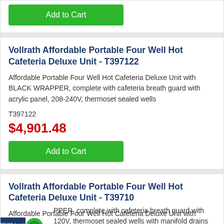[Figure (other): Green Add to Cart button at top of page (partial card from previous product)]
Vollrath Affordable Portable Four Well Hot Cafeteria Deluxe Unit - T397122
Affordable Portable Four Well Hot Cafeteria Deluxe Unit with BLACK WRAPPER, complete with cafeteria breath guard with acrylic panel, 208-240V, thermoset sealed wells
T397122
$4,901.48
[Figure (other): Green Add to Cart button]
Vollrath Affordable Portable Four Well Hot Cafeteria Deluxe Unit - T39710
Affordable Portable Four Well Hot Cafeteria Deluxe Unit with BLACK WRAPPER, complete with cafeteria breath guard with acrylic panel, 120V, thermoset sealed wells with manifold drains
[Figure (logo): Trust Guard Security Scanned badge with shield icon at bottom left corner]